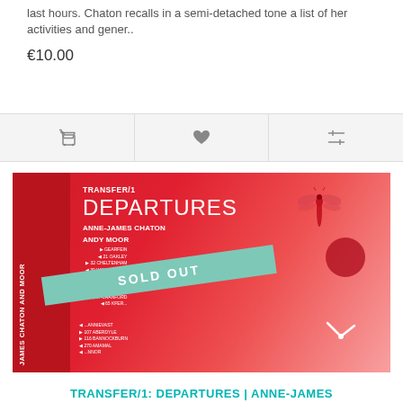last hours. Chaton recalls in a semi-detached tone a list of her activities and gener..
€10.00
[Figure (infographic): Action bar with three icon buttons: shopping cart, heart/wishlist, and sliders/compare icons on a light gray background]
[Figure (photo): Book cover for Transfer/1 Departures by Anne-James Chaton and Andy Moor. Red background with dragonfly illustration, signpost graphic, clock, and a SOLD OUT banner in teal/mint color.]
TRANSFER/1: DEPARTURES | ANNE-JAMES